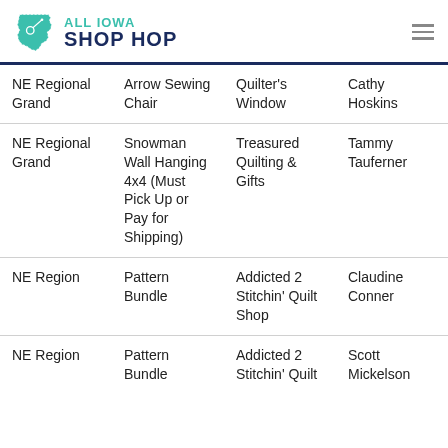ALL IOWA SHOP HOP
| NE Regional Grand | Arrow Sewing Chair | Quilter's Window | Cathy Hoskins |
| NE Regional Grand | Snowman Wall Hanging 4x4 (Must Pick Up or Pay for Shipping) | Treasured Quilting & Gifts | Tammy Tauferner |
| NE Region | Pattern Bundle | Addicted 2 Stitchin' Quilt Shop | Claudine Conner |
| NE Region | Pattern Bundle | Addicted 2 Stitchin' Quilt | Scott Mickelson |